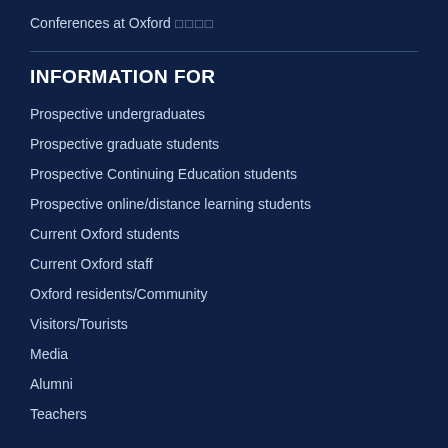Conferences at Oxford
□□□□
INFORMATION FOR
Prospective undergraduates
Prospective graduate students
Prospective Continuing Education students
Prospective online/distance learning students
Current Oxford students
Current Oxford staff
Oxford residents/Community
Visitors/Tourists
Media
Alumni
Teachers